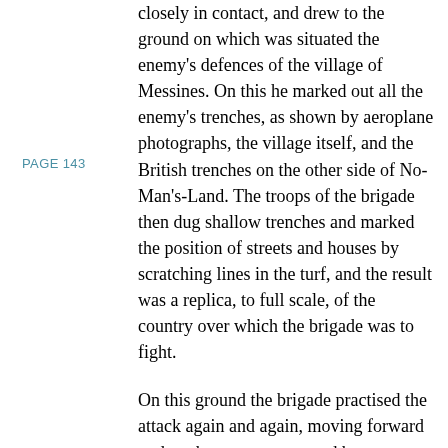PAGE 143
closely in contact, and drew to the ground on which was situated the enemy's defences of the village of Messines. On this he marked out all the enemy's trenches, as shown by aeroplane photographs, the village itself, and the British trenches on the other side of No-Man's-Land. The troops of the brigade then dug shallow trenches and marked the position of streets and houses by scratching lines in the turf, and the result was a replica, to full scale, of the country over which the brigade was to fight.
On this ground the brigade practised the attack again and again, moving forward under a barrage represented by men carrying flags and controlled by the staff captain of the brigade. The time-table laid down in the orders for the operation was